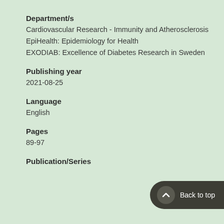Department/s
Cardiovascular Research - Immunity and Atherosclerosis
EpiHealth: Epidemiology for Health
EXODIAB: Excellence of Diabetes Research in Sweden
Publishing year
2021-08-25
Language
English
Pages
89-97
Publication/Series